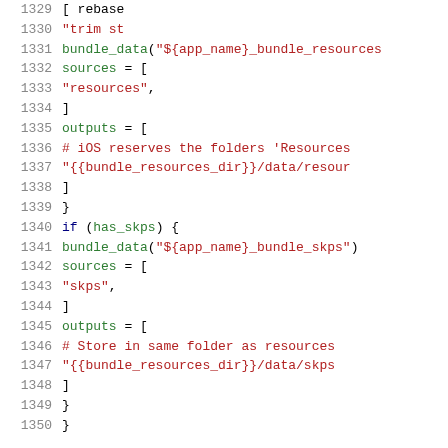[Figure (screenshot): Source code listing showing lines 1329-1350 of a build configuration file with syntax highlighting. Green for identifiers and function names, dark red for strings and comments, blue for keywords. Shows bundle_data configurations for app resources and skps.]